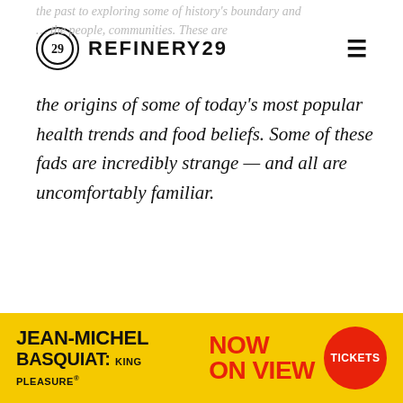REFINERY29
the origins of some of today's most popular health trends and food beliefs. Some of these fads are incredibly strange — and all are uncomfortably familiar.
ADVERTISEMENT
[Figure (infographic): Refinery29 website advertisement banner for Jean-Michel Basquiat: King Pleasure exhibition with yellow background, red NOW ON VIEW text, and red Tickets circle button]